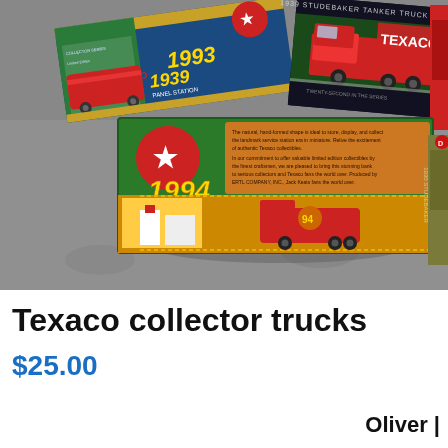[Figure (photo): Photo of multiple Texaco collector truck boxes arranged on a gray concrete surface. Boxes include a 1939 Studebaker Tanker Truck box (red truck on black background), a green 1994 Texaco box with orange panel, and an olive-colored box, along with a red box on the right edge.]
Texaco collector trucks
$25.00
Oliver |